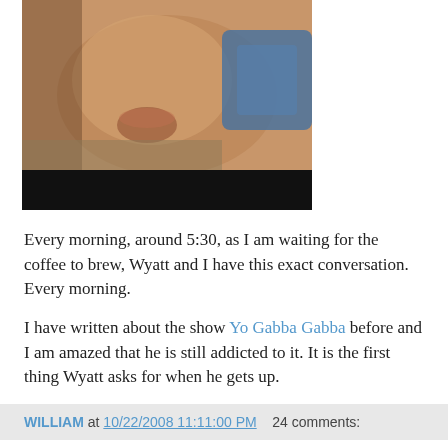[Figure (photo): Video thumbnail showing a young child's face close up, with a black video player bar at the bottom and a white play button triangle overlay]
Every morning, around 5:30, as I am waiting for the coffee to brew, Wyatt and I have this exact conversation. Every morning.
I have written about the show Yo Gabba Gabba before and I am amazed that he is still addicted to it. It is the first thing Wyatt asks for when he gets up.
WILLIAM at 10/22/2008 11:11:00 PM   24 comments:
Monday, October 20, 2008
Dewey Decimal Dilemma
A few weeks ago I started taking Maxfield to the library on